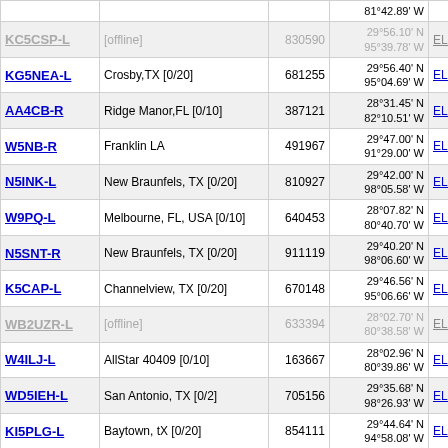| Callsign | Description | Node | Coordinates | Grid |  |
| --- | --- | --- | --- | --- | --- |
|  |  |  | 81°42.89' W |  | 8... |
| KC5CSP-L | [offline] | 830590 | 29°56.10' N
95°39.78' W | EL29ew | 8... |
| KG5NEA-L | Crosby,TX [0/20] | 681255 | 29°56.40' N
95°04.69' W | EL29lw | 8... |
| AA4CB-R | Ridge Manor,FL [0/10] | 387121 | 28°31.45' N
82°10.51' W | EL88vm | 8... |
| W5NB-R | Franklin LA | 491967 | 29°47.00' N
91°29.00' W | EL49gs | 8... |
| N5INK-L | New Braunfels, TX [0/20] | 810927 | 29°42.00' N
98°05.58' W | EL09wq | 8... |
| W9PQ-L | Melbourne, FL, USA [0/10] | 640453 | 28°07.82' N
80°40.70' W | EL98pd | 8... |
| N5SNT-R | New Braunfels, TX [0/20] | 911119 | 29°40.20' N
98°06.60' W | EL09wq | 8... |
| K5CAP-L | Channelview, TX [0/20] | 670148 | 29°46.56' N
95°06.66' W | EL29ks | 8... |
| WB2UZR-L | [offline] | 633394 | 28°02.70' N
80°38.58' W | EL98qb | 8... |
| W4ILJ-L | AllStar 40409 [0/10] | 163667 | 28°02.96' N
80°39.86' W | EL98qb | 8... |
| WD5IEH-L | San Antonio, TX [0/2] | 705156 | 29°35.68' N
98°26.93' W | EL09so | 8... |
| KI5PLG-L | Baytown, tX [0/20] | 854111 | 29°44.64' N
94°58.08' W | EL29mr | 8... |
| N5ZR-R | Selma, TX [0/20] | 50264 | 29°35.09' N | EL09uo | 8... |